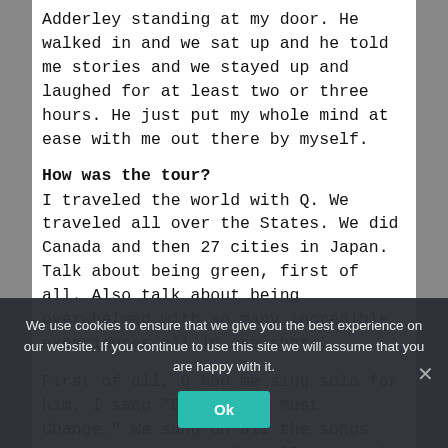Adderley standing at my door. He walked in and we sat up and he told me stories and we stayed up and laughed for at least two or three hours. He just put my whole mind at ease with me out there by myself.
How was the tour?
I traveled the world with Q. We traveled all over the States. We did Canada and then 27 cities in Japan. Talk about being green, first of all. Also talk about being overwhelmed with so many incredible experiences all in one shot.
First of all, Q had me sing solo for him. I sang "Everything Must Change." We sang on all the songs that were on that album [Body Heat]. We sang "If I
We use cookies to ensure that we give you the best experience on our website. If you continue to use this site we will assume that you are happy with it.